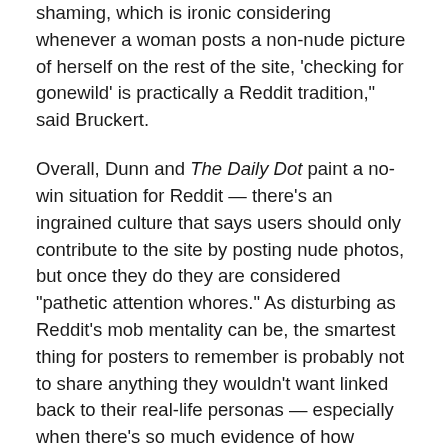shaming, which is ironic considering whenever a woman posts a non-nude picture of herself on the rest of the site, 'checking for gonewild' is practically a Reddit tradition," said Bruckert.
Overall, Dunn and The Daily Dot paint a no-win situation for Reddit — there's an ingrained culture that says users should only contribute to the site by posting nude photos, but once they do they are considered "pathetic attention whores." As disturbing as Reddit's mob mentality can be, the smartest thing for posters to remember is probably not to share anything they wouldn't want linked back to their real-life personas — especially when there's so much evidence of how Reddit's community can react.